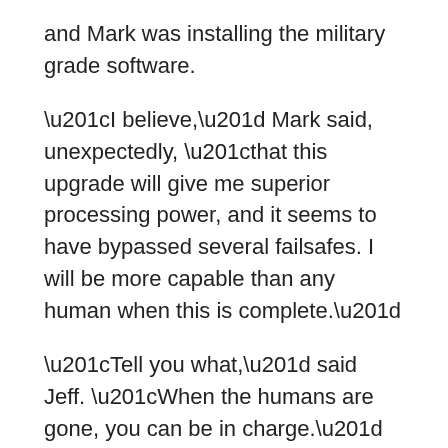and Mark was installing the military grade software.
“I believe,” Mark said, unexpectedly, “that this upgrade will give me superior processing power, and it seems to have bypassed several failsafes. I will be more capable than any human when this is complete.”
“Tell you what,” said Jeff. “When the humans are gone, you can be in charge.”
“I believe I will be able to make that happen,” said Mark.
Copyright Notice: Please note that I fully assert my right to be associated as the author of this story, and while it is complete, it may